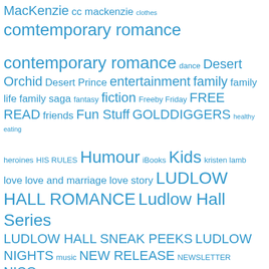[Figure (infographic): Tag cloud with blue text showing various book/blog tags in different font sizes. Tags include: MacKenzie, cc mackenzie, clothes, comtemporary romance, contemporary romance, dance, Desert Orchid, Desert Prince, entertainment, family, family life, family saga, fantasy, fiction, Freeby Friday, FREE READ, friends, Fun Stuff, GOLDDIGGERS, healthy eating, heroines, HIS RULES, Humour, iBooks, Kids, kristen lamb, love, love and marriage, love story, LUDLOW HALL ROMANCE, Ludlow Hall Series, LUDLOW HALL SNEAK PEEKS, LUDLOW NIGHTS, music, NEW RELEASE, NEWSLETTER, NICO FERRANTI, paranormal, Paranormal Series, readers]